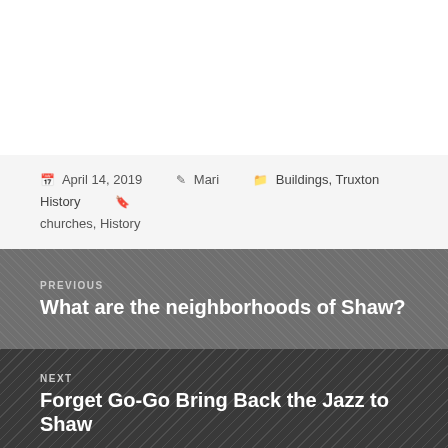April 14, 2019   Mari   Buildings, Truxton History   churches, History
[Figure (photo): Previous post navigation block with grayscale map background image. Label: PREVIOUS. Title: What are the neighborhoods of Shaw?]
[Figure (photo): Next post navigation block with grayscale crowd/jazz event photo background. Label: NEXT. Title: Forget Go-Go Bring Back the Jazz to Shaw]
Privacy Policy  /  Proudly powered by WordPress